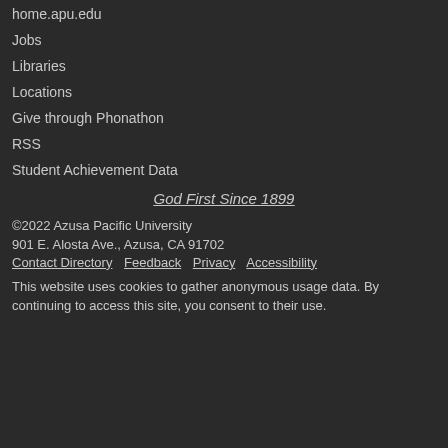home.apu.edu
Jobs
Libraries
Locations
Give through Phonathon
RSS
Student Achievement Data
God First Since 1899
©2022 Azusa Pacific University
901 E. Alosta Ave., Azusa, CA 91702
Contact Directory   Feedback   Privacy   Accessibility

This website uses cookies to gather anonymous usage data. By continuing to access this site, you consent to their use.